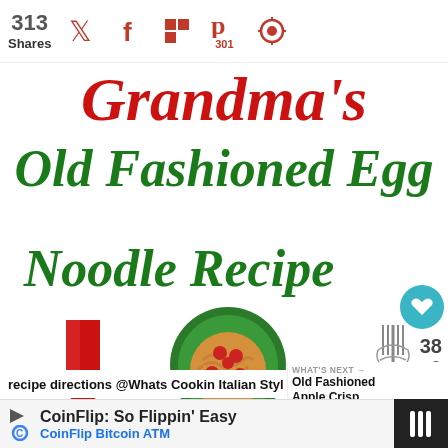313 Shares | Twitter | Facebook | Flipboard | Pinterest 301 | Follow
Grandma's
Old Fashioned Egg Noodle Recipe
[Figure (illustration): Red downward arrow]
[Figure (illustration): Green plate with egg noodles and red tomatoes]
[Figure (illustration): Fork with noodles, heart save button showing 38 shares]
recipe directions @Whats Cookin Italian Styl
WHAT'S NEXT → Old Fashioned Apple Crisp...
[Figure (photo): Photo of fresh egg noodles on floured surface]
CoinFlip: So Flippin' Easy CoinFlip Bitcoin ATM